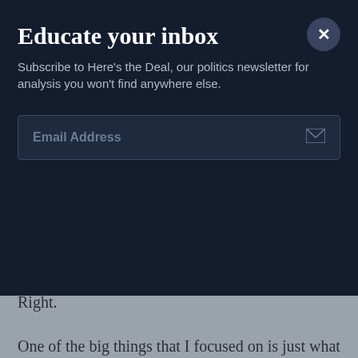Educate your inbox
Subscribe to Here's the Deal, our politics newsletter for analysis you won't find anywhere else.
Email Address
Right.
One of the big things that I focused on is just what I call the race-crime association or the black-crime association.
So it's not surprising really that people might associate blackness with crime, but it can come up in surprising ways or it can influence us in ways that we don't always recognize or know about.